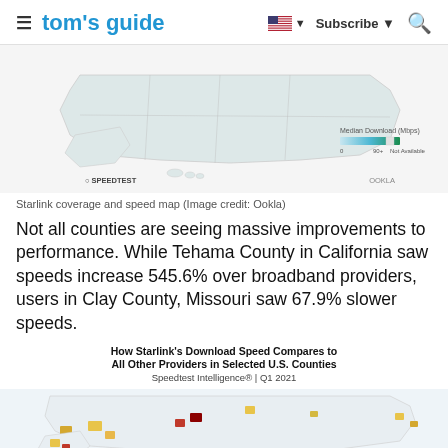tom's guide | Subscribe
[Figure (map): Starlink coverage and speed map of the United States showing median download speeds in Mbps, with a color gradient legend from 0 to 90+ Mbps. Labeled SPEEDTEST / OOKLA.]
Starlink coverage and speed map (Image credit: Ookla)
Not all counties are seeing massive improvements to performance. While Tehama County in California saw speeds increase 545.6% over broadband providers, users in Clay County, Missouri saw 67.9% slower speeds.
[Figure (map): How Starlink's Download Speed Compares to All Other Providers in Selected U.S. Counties — Speedtest Intelligence® | Q1 2021. Color-coded map of U.S. counties showing relative Starlink speeds, with dark red indicating slower speeds and yellow indicating areas with data.]